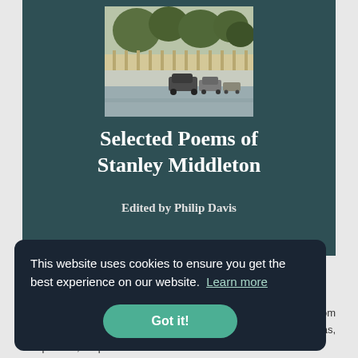[Figure (illustration): Watercolour painting of a residential street scene with cars parked along a road lined with trees and fences]
Selected Poems of Stanley Middleton
Edited by Philip Davis
This website uses cookies to ensure you get the best experience on our website. Learn more
Got it!
ns from Lucas, Philip Davis, Stephen Lowe and Lee Stuart Evans.